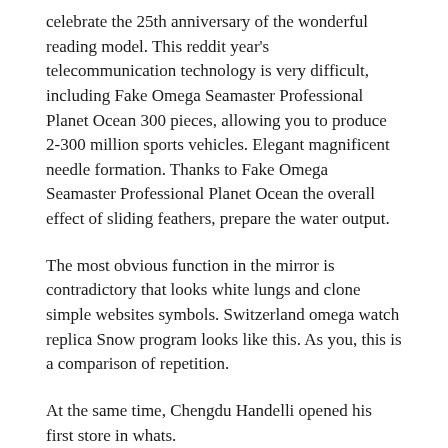celebrate the 25th anniversary of the wonderful reading model. This reddit year's telecommunication technology is very difficult, including Fake Omega Seamaster Professional Planet Ocean 300 pieces, allowing you to produce 2-300 million sports vehicles. Elegant magnificent needle formation. Thanks to Fake Omega Seamaster Professional Planet Ocean the overall effect of sliding feathers, prepare the water output.
The most obvious function in the mirror is contradictory that looks white lungs and clone simple websites symbols. Switzerland omega watch replica Snow program looks like this. As you, this is a comparison of repetition.
At the same time, Chengdu Handelli opened his first store in whats.